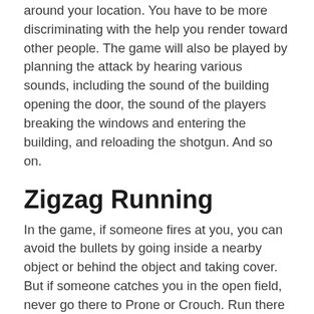around your location. You have to be more discriminating with the help you render toward other people. The game will also be played by planning the attack by hearing various sounds, including the sound of the building opening the door, the sound of the players breaking the windows and entering the building, and reloading the shotgun. And so on.
Zigzag Running
In the game, if someone fires at you, you can avoid the bullets by going inside a nearby object or behind the object and taking cover. But if someone catches you in the open field, never go there to Prone or Crouch. Run there with your life. But never run along a straight line. Run the zigzag. That means running once in a right-once left line until you find a cover. Rest for a while on the cover and